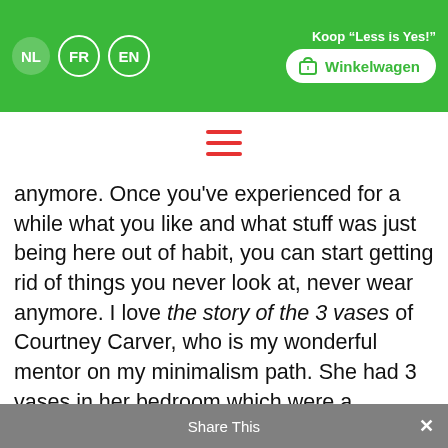NL FR EN | Koop "Less is Yes!" Winkelwagen
[Figure (other): Hamburger menu icon (three horizontal red lines)]
anymore. Once you've experienced for a while what you like and what stuff was just being here out of habit, you can start getting rid of things you never look at, never wear anymore. I love the story of the 3 vases of Courtney Carver, who is my wonderful mentor on my minimalism path. She had 3 vases in her bedroom which were a wedding gift, and as she was trying out what stuff made her happy and what not, she hid them for 3 months. Then she put them back. Because she knew she had not missed them, she said to her husband, I'll get rid of
Share This ×